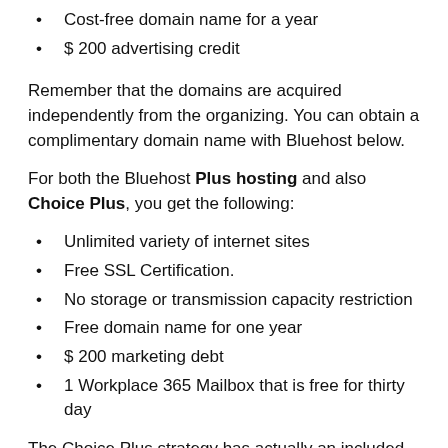Cost-free domain name for a year
$ 200 advertising credit
Remember that the domains are acquired independently from the organizing. You can obtain a complimentary domain name with Bluehost below.
For both the Bluehost Plus hosting and also Choice Plus, you get the following:
Unlimited variety of internet sites
Free SSL Certification.
No storage or transmission capacity restriction
Free domain name for one year
$ 200 marketing debt
1 Workplace 365 Mailbox that is free for thirty day
The Choice Plus strategy has actually an included advantage of Code Guard Basic Alternative, a back-up system where your file